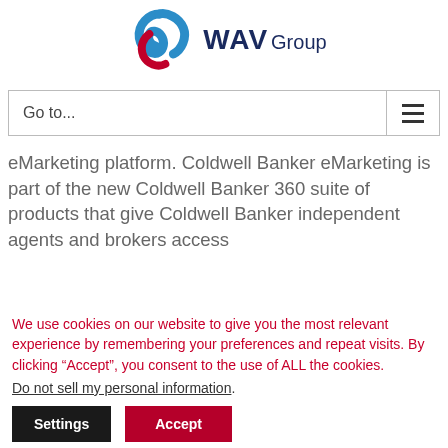[Figure (logo): WAV Group logo with blue ribbon/wave mark and WAV Group text in dark navy]
Go to...
eMarketing platform. Coldwell Banker eMarketing is part of the new Coldwell Banker 360 suite of products that give Coldwell Banker independent agents and brokers access
We use cookies on our website to give you the most relevant experience by remembering your preferences and repeat visits. By clicking “Accept”, you consent to the use of ALL the cookies.
Do not sell my personal information.